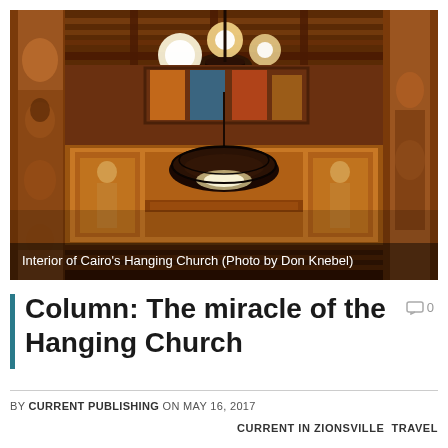[Figure (photo): Interior of Cairo's Hanging Church showing ornate wooden ceiling, hanging chandelier, golden iconostasis with religious paintings, Byzantine-style icons on the walls, and decorated architectural elements in warm amber and gold tones.]
Interior of Cairo's Hanging Church (Photo by Don Knebel)
Column: The miracle of the Hanging Church
BY CURRENT PUBLISHING ON MAY 16, 2017
CURRENT IN ZIONSVILLE  TRAVEL